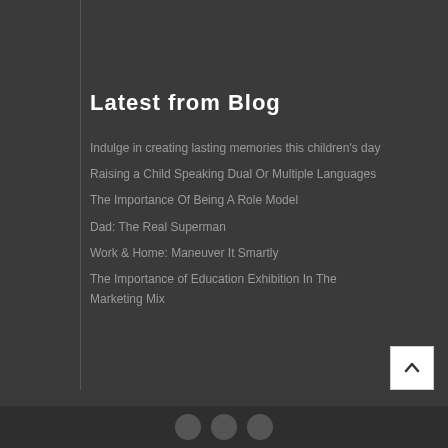Latest from Blog
Indulge in creating lasting memories this children's day
Raising a Child Speaking Dual Or Multiple Languages
The Importance Of Being A Role Model
Dad: The Real Superman
Work & Home: Maneuver It Smartly
The Importance of Education Exhibition In The Marketing Mix